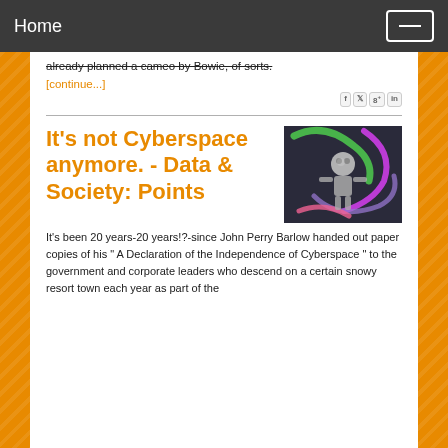Home
already planned a cameo by Bowie, of sorts.
[continue...]
[Figure (illustration): Colorful abstract illustration of a robot figure with swirling green, pink, and purple light trails against a dark background]
It's not Cyberspace anymore. - Data & Society: Points
It's been 20 years-20 years!?-since John Perry Barlow handed out paper copies of his " A Declaration of the Independence of Cyberspace " to the government and corporate leaders who descend on a certain snowy resort town each year as part of the